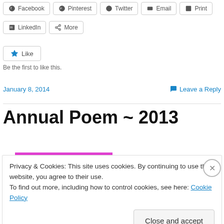Facebook | Pinterest | Twitter | Email | Print (share buttons row 1)
LinkedIn | More (share buttons row 2)
Like | Be the first to like this.
January 8, 2014 | Leave a Reply
Annual Poem ~ 2013
Privacy & Cookies: This site uses cookies. By continuing to use this website, you agree to their use. To find out more, including how to control cookies, see here: Cookie Policy
Close and accept